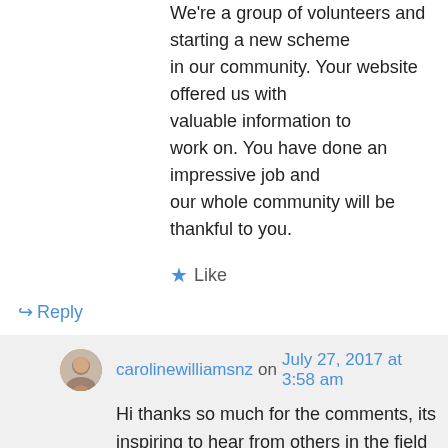We're a group of volunteers and starting a new scheme in our community. Your website offered us with valuable information to work on. You have done an impressive job and our whole community will be thankful to you.
★ Like
↩ Reply
carolinewilliamsnz on July 27, 2017 at 3:58 am
Hi thanks so much for the comments, its inspiring to hear from others in the field and sharing information is critical to helping others!